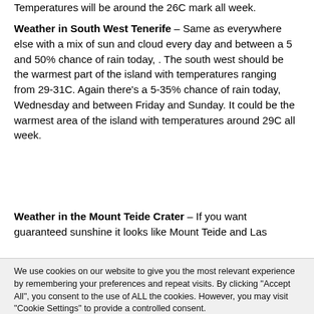Temperatures will be around the 26C mark all week.
Weather in South West Tenerife – Same as everywhere else with a mix of sun and cloud every day and between a 5 and 50% chance of rain today, . The south west should be the warmest part of the island with temperatures ranging from 29-31C. Again there's a 5-35% chance of rain today, Wednesday and between Friday and Sunday. It could be the warmest area of the island with temperatures around 29C all week.
Weather in the Mount Teide Crater – If you want guaranteed sunshine it looks like Mount Teide and Las
We use cookies on our website to give you the most relevant experience by remembering your preferences and repeat visits. By clicking "Accept All", you consent to the use of ALL the cookies. However, you may visit "Cookie Settings" to provide a controlled consent.